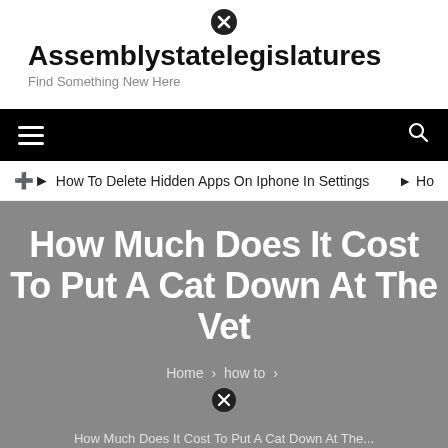Assemblystatelegislatures
Find Something New Here
How To Delete Hidden Apps On Iphone In Settings
How Much Does It Cost To Put A Cat Down At The Vet
Home > how to >
How Much Does It Cost To Put A Cat Down At The...